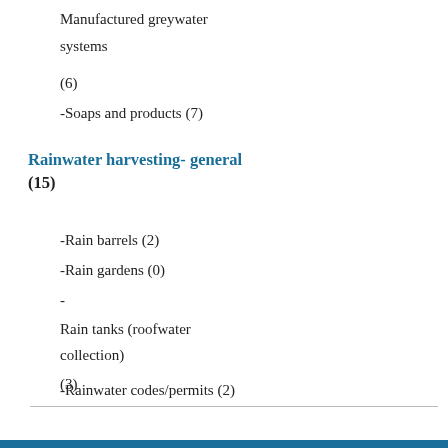Manufactured greywater systems
(6)
-Soaps and products (7)
Rainwater harvesting- general (15)
-Rain barrels (2)
-Rain gardens (0)
- Rain tanks (roofwater collection) (3)
-Rainwater codes/permits (2)